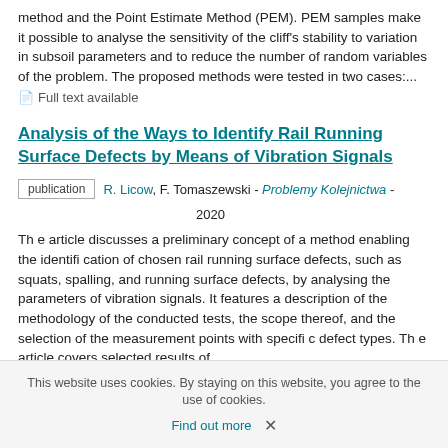method and the Point Estimate Method (PEM). PEM samples make it possible to analyse the sensitivity of the cliff's stability to variation in subsoil parameters and to reduce the number of random variables of the problem. The proposed methods were tested in two cases:...
Full text available
Analysis of the Ways to Identify Rail Running Surface Defects by Means of Vibration Signals
publication  R. Licow, F. Tomaszewski - Problemy Kolejnictwa - 2020
Th e article discusses a preliminary concept of a method enabling the identifi cation of chosen rail running surface defects, such as squats, spalling, and running surface defects, by analysing the parameters of vibration signals. It features a description of the methodology of the conducted tests, the scope thereof, and the selection of the measurement points with specifi c defect types. Th e article covers selected results of...
This website uses cookies. By staying on this website, you agree to the use of cookies.
Find out more